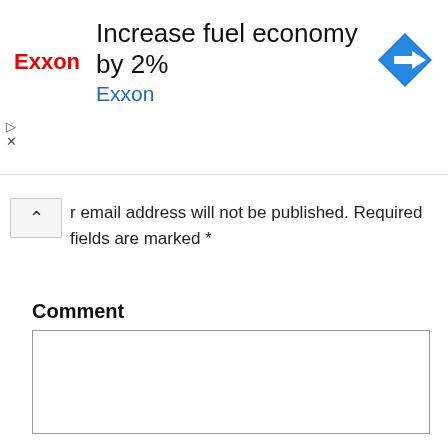[Figure (screenshot): Exxon advertisement banner: Exxon logo on left, headline 'Increase fuel economy by 2%', subtext 'Exxon' in blue, blue diamond navigation arrow icon on right]
r email address will not be published. Required fields are marked *
Comment